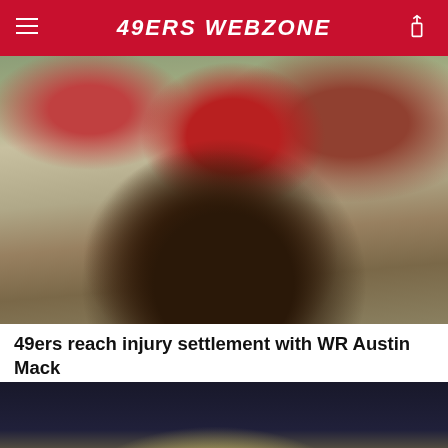49ERS WEBZONE
[Figure (photo): Football players on field, one player wearing jersey #81 in red uniform diving or sliding, another player in dark shorts visible]
49ers reach injury settlement with WR Austin Mack
[Figure (photo): San Francisco 49ers quarterback wearing jersey #4 in gold and white uniform preparing to throw a pass, while Houston Texans defender #95 rushes from the left side]